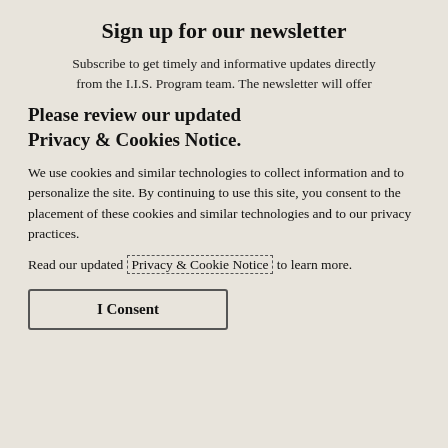Sign up for our newsletter
Subscribe to get timely and informative updates directly from the I.I.S. Program team. The newsletter will offer
Please review our updated Privacy & Cookies Notice.
We use cookies and similar technologies to collect information and to personalize the site. By continuing to use this site, you consent to the placement of these cookies and similar technologies and to our privacy practices.
Read our updated Privacy & Cookie Notice to learn more.
I Consent